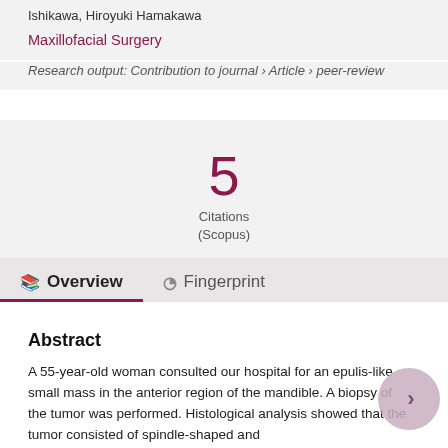Ishikawa, Hiroyuki Hamakawa
Maxillofacial Surgery
Research output: Contribution to journal › Article › peer-review
5
Citations
(Scopus)
Overview   Fingerprint
Abstract
A 55-year-old woman consulted our hospital for an epulis-like small mass in the anterior region of the mandible. A biopsy of the tumor was performed. Histological analysis showed that the tumor consisted of spindle-shaped and